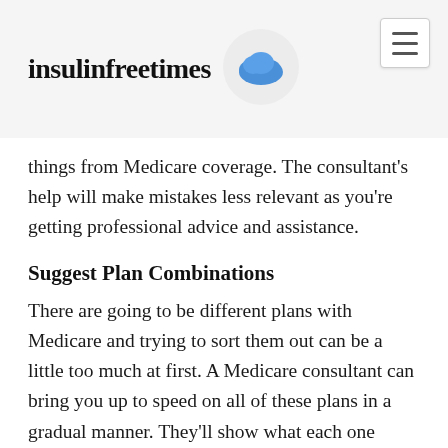insulinfreetimes
things from Medicare coverage. The consultant's help will make mistakes less relevant as you're getting professional advice and assistance.
Suggest Plan Combinations
There are going to be different plans with Medicare and trying to sort them out can be a little too much at first. A Medicare consultant can bring you up to speed on all of these plans in a gradual manner. They'll show what each one covers, whether it's prescription medication or co-pays.